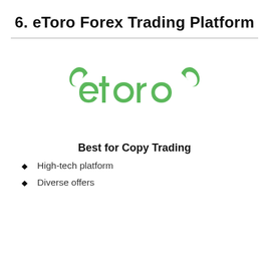6. eToro Forex Trading Platform
[Figure (logo): eToro green logo with bull horns on left side of the 'e' letter and a horn on right side of the last 'o', all text in green on white background]
Best for Copy Trading
High-tech platform
Diverse offers